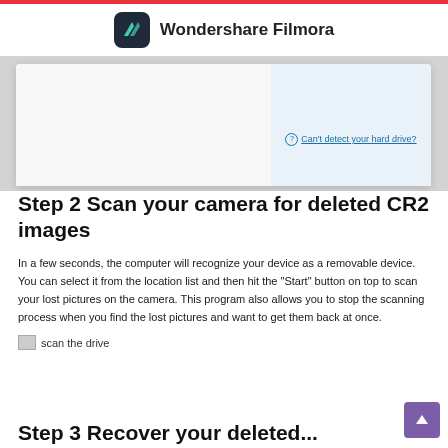Wondershare Filmora
[Figure (screenshot): Screenshot of Wondershare Filmora interface showing a drive selection panel. Right side has a light blue panel with a 'Can't detect your hard drive?' link.]
Step 2 Scan your camera for deleted CR2 images
In a few seconds, the computer will recognize your device as a removable device. You can select it from the location list and then hit the "Start" button on top to scan your lost pictures on the camera. This program also allows you to stop the scanning process when you find the lost pictures and want to get them back at once.
[Figure (screenshot): Broken image placeholder labeled 'scan the drive']
Step 3 Recover your deleted...